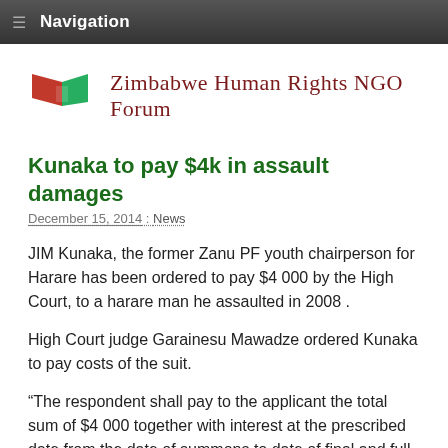Navigation
[Figure (logo): Zimbabwe Human Rights NGO Forum logo with red and green flag motif, followed by organization name text]
Kunaka to pay $4k in assault damages
December 15, 2014 : News
JIM Kunaka, the former Zanu PF youth chairperson for Harare has been ordered to pay $4 000 by the High Court, to a harare man he assaulted in 2008 .
High Court judge Garainesu Mawadze ordered Kunaka to pay costs of the suit.
“The respondent shall pay to the applicant the total sum of $4 000 together with interest at the prescribed date from the date of summons to date of final and full payment,” reads the judgement